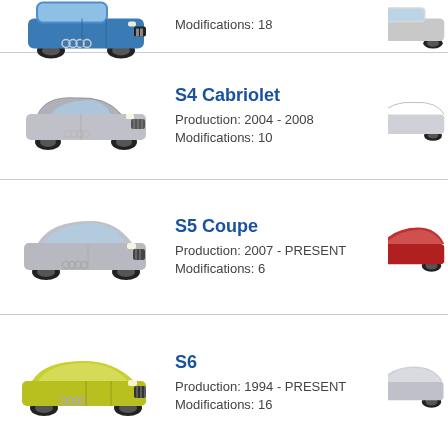Modifications: 18
S4 Cabriolet
Production: 2004 - 2008
Modifications: 10
S5 Coupe
Production: 2007 - PRESENT
Modifications: 6
S6
Production: 1994 - PRESENT
Modifications: 16
S7 Sportback
Production: 2012 - PRESENT
Modifications: 2